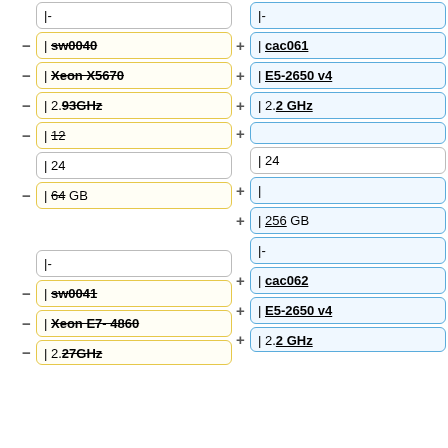|- (left col, top)
|- (right col, top)
- | sw0040
+ | cac061
- | Xeon X5670
+ | E5-2650 v4
- | 2.93GHz
+ | 2.2 GHz
- | 12
+ | (empty)
| 24 (left)
| 24 (right)
- | 64 GB
+ | (empty)
+ | 256 GB
|- (left col, mid)
|- (right col, mid)
- | sw0041
+ | cac062
- | Xeon E7- 4860
+ | E5-2650 v4
- | 2.27GHz (partial)
+ | 2.2 GHz (partial)